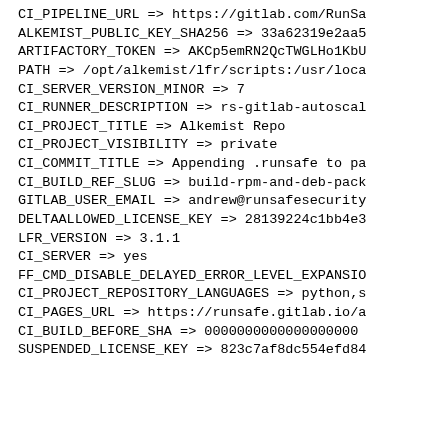CI_PIPELINE_URL => https://gitlab.com/RunSa
ALKEMIST_PUBLIC_KEY_SHA256 => 33a62319e2aa5
ARTIFACTORY_TOKEN => AKCp5emRN2QcTWGLHo1KbU
PATH => /opt/alkemist/lfr/scripts:/usr/loca
CI_SERVER_VERSION_MINOR => 7
CI_RUNNER_DESCRIPTION => rs-gitlab-autoscal
CI_PROJECT_TITLE => Alkemist Repo
CI_PROJECT_VISIBILITY => private
CI_COMMIT_TITLE => Appending .runsafe to pa
CI_BUILD_REF_SLUG => build-rpm-and-deb-pack
GITLAB_USER_EMAIL => andrew@runsafesecurity
DELTAALLOWED_LICENSE_KEY => 28139224c1bb4e3
LFR_VERSION => 3.1.1
CI_SERVER => yes
FF_CMD_DISABLE_DELAYED_ERROR_LEVEL_EXPANSIO
CI_PROJECT_REPOSITORY_LANGUAGES => python,s
CI_PAGES_URL => https://runsafe.gitlab.io/a
CI_BUILD_BEFORE_SHA => 0000000000000000000
SUSPENDED_LICENSE_KEY => 823c7af8dc554efd84